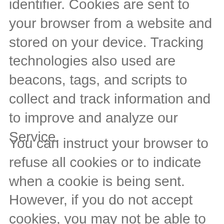identifier. Cookies are sent to your browser from a website and stored on your device. Tracking technologies also used are beacons, tags, and scripts to collect and track information and to improve and analyze our Service.
You can instruct your browser to refuse all cookies or to indicate when a cookie is being sent. However, if you do not accept cookies, you may not be able to use some